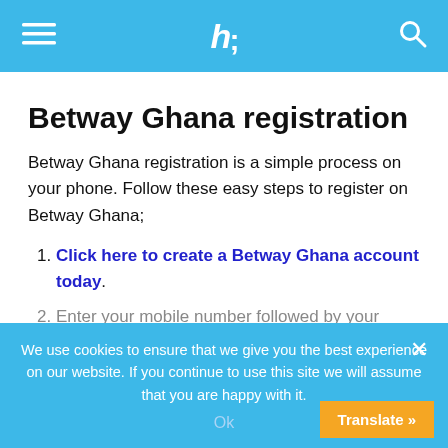ht (logo)
Betway Ghana registration
Betway Ghana registration is a simple process on your phone. Follow these easy steps to register on Betway Ghana;
1. Click here to create a Betway Ghana account today.
2. Enter your mobile number followed by your
We use cookies to ensure that we give you the best experience on our website. If you continue to use this site we will assume that you are happy with it.